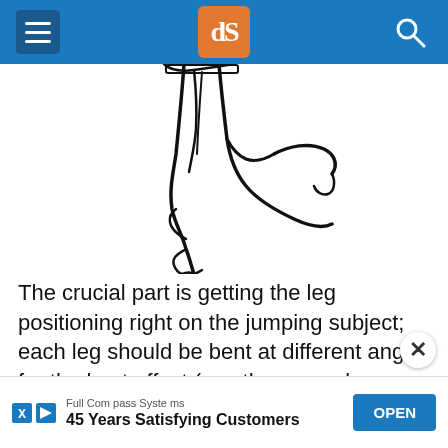dPS navigation header
[Figure (illustration): Line drawing illustration of the lower body of a person jumping, showing legs bent at different angles — one leg raised and bent at the knee, the other on the ground slightly bent, viewed from knees down.]
The crucial part is getting the leg positioning right on the jumping subject; each leg should be bent at different angles for the best effect (see the example above).
[Figure (infographic): Advertisement banner: Full Compass Systems - 45 Years Satisfying Customers, with OPEN button]